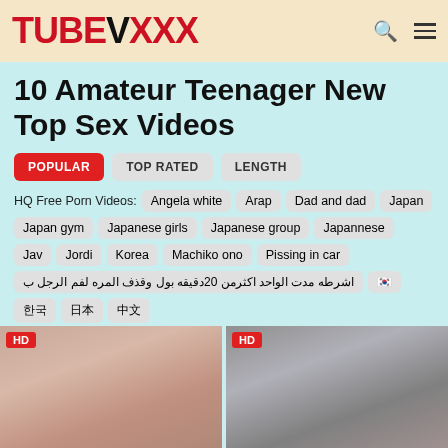TUBEVXXX
10 Amateur Teenager New Top Sex Videos
POPULAR | TOP RATED | LENGTH
HQ Free Porn Videos: Angela white  Arap  Dad and dad  Japan  Japan gym  Japanese girls  Japanese group  Japannese  Jav  Jordi  Korea  Machiko ono  Pissing in car  اشرطه مدت الواحد اكثرمن 20دقيقه بول وقذف المره لفم الرجل ب  🇰🇷
[Figure (screenshot): Two HD video thumbnails side by side at the bottom of the page]